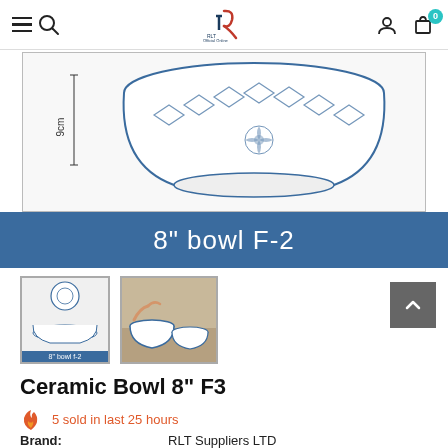RLT Official Online Store navigation bar with hamburger menu, search, logo, user icon, and cart (0)
[Figure (photo): Product image of a blue and white ceramic bowl with floral geometric pattern, showing dimension annotation of 9cm height. Bottom has a blue label bar reading '8" bowl F-2'.]
8" bowl F-2
[Figure (photo): Thumbnail 1: product diagram showing top and side view of the bowl with label '8" bowl f-2'. Thumbnail 2: lifestyle photo of hands holding blue and white ceramic bowls with food.]
Ceramic Bowl 8" F3
5 sold in last 25 hours
Brand: RLT Suppliers LTD
Product Code: